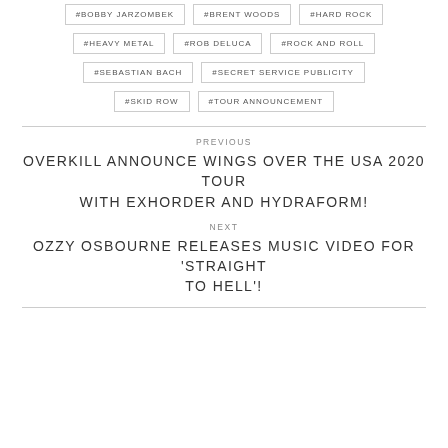#BOBBY JARZOMBEK
#BRENT WOODS
#HARD ROCK
#HEAVY METAL
#ROB DELUCA
#ROCK AND ROLL
#SEBASTIAN BACH
#SECRET SERVICE PUBLICITY
#SKID ROW
#TOUR ANNOUNCEMENT
PREVIOUS
OVERKILL ANNOUNCE WINGS OVER THE USA 2020 TOUR WITH EXHORDER AND HYDRAFORM!
NEXT
OZZY OSBOURNE RELEASES MUSIC VIDEO FOR 'STRAIGHT TO HELL'!